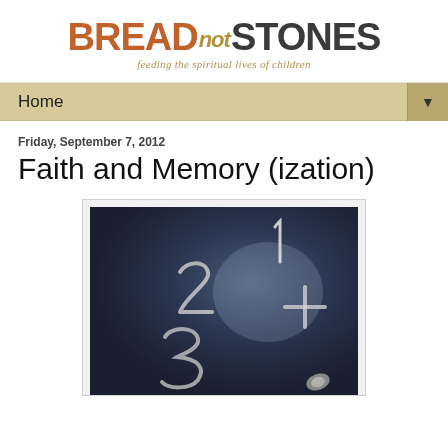[Figure (logo): Bread not Stones logo with tagline 'feeding the spiritual lives of children']
Home
Friday, September 7, 2012
Faith and Memory (ization)
[Figure (photo): Dark chalkboard with chalk-written numbers 1, 2, 3 and a plus sign, close-up photograph]